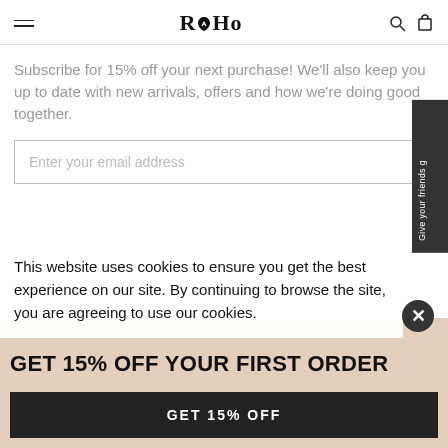RoHo
Subscribe for 15% off your next purchase! We'll also keep you up to date with new arrivals, offers and how we're doing good together.
Enter your email address
Give your friends g
This website uses cookies to ensure you get the best experience on our site. By continuing to browse the site, you are agreeing to use our cookies.
GET 15% OFF YOUR FIRST ORDER
GET 15% OFF